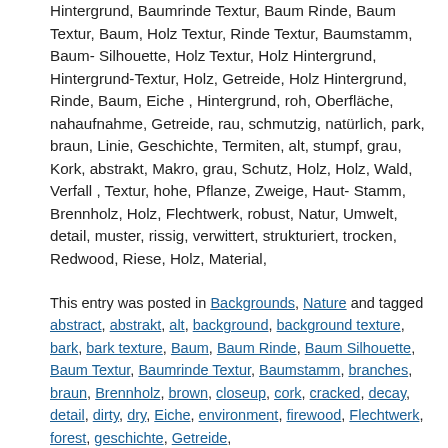Hintergrund, Baumrinde Textur, Baum Rinde, Baum Textur, Baum, Holz Textur, Rinde Textur, Baumstamm, Baum-Silhouette, Holz Textur, Holz Hintergrund, Hintergrund-Textur, Holz, Getreide, Holz Hintergrund, Rinde, Baum, Eiche , Hintergrund, roh, Oberfläche, nahaufnahme, Getreide, rau, schmutzig, natürlich, park, braun, Linie, Geschichte, Termiten, alt, stumpf, grau, Kork, abstrakt, Makro, grau, Schutz, Holz, Holz, Wald, Verfall , Textur, hohe, Pflanze, Zweige, Haut-Stamm, Brennholz, Holz, Flechtwerk, robust, Natur, Umwelt, detail, muster, rissig, verwittert, strukturiert, trocken, Redwood, Riese, Holz, Material,
This entry was posted in Backgrounds, Nature and tagged abstract, abstrakt, alt, background, background texture, bark, bark texture, Baum, Baum Rinde, Baum Silhouette, Baum Textur, Baumrinde Textur, Baumstamm, branches, braun, Brennholz, brown, closeup, cork, cracked, decay, detail, dirty, dry, Eiche, environment, firewood, Flechtwerk, forest, geschichte, Getreide,